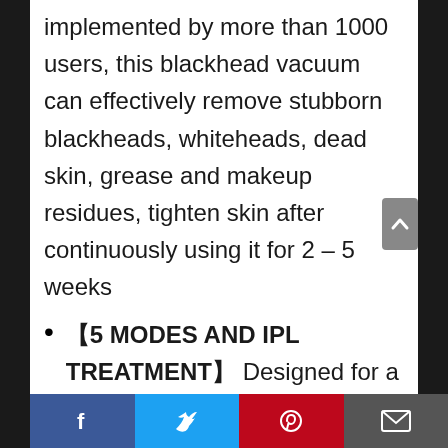implemented by more than 1000 users, this blackhead vacuum can effectively remove stubborn blackheads, whiteheads, dead skin, grease and makeup residues, tighten skin after continuously using it for 2 – 5 weeks
【5 MODES AND IPL TREATMENT】 Designed for a variety of skin types. Level 1 is for sensitive and dry skin, level 2-3 are for neutral skin, level 4-5 are for mixed and oily skin. Developed with IPL beauty treatment, red light-promote collagen regeneration, regenerate